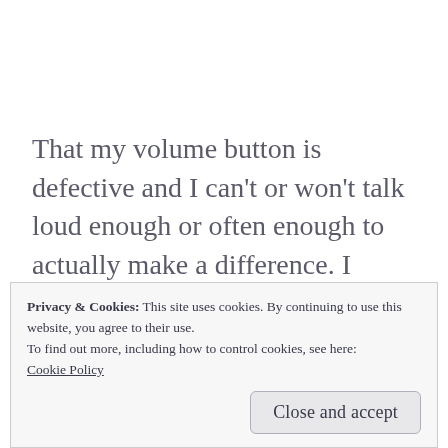That my volume button is defective and I can't or won't talk loud enough or often enough to actually make a difference. I worry that my feet will give out.
I worry that the chatter in my head will convince my feet to give up on carry the
Privacy & Cookies: This site uses cookies. By continuing to use this website, you agree to their use.
To find out more, including how to control cookies, see here: Cookie Policy
Close and accept
and realize there is an even bigger one in the